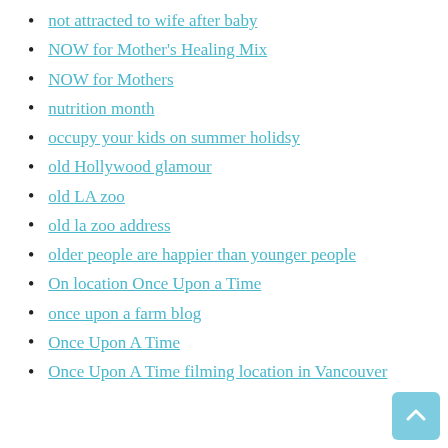not attracted to wife after baby
NOW for Mother's Healing Mix
NOW for Mothers
nutrition month
occupy your kids on summer holidsy
old Hollywood glamour
old LA zoo
old la zoo address
older people are happier than younger people
On location Once Upon a Time
once upon a farm blog
Once Upon A Time
Once Upon A Time filming location in Vancouver